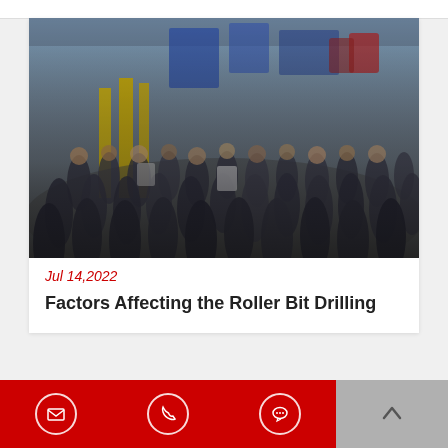[Figure (photo): Crowd of people walking through an industrial trade show or conference floor with yellow pillars, blue structures, and drilling equipment visible in the background.]
Jul 14,2022
Factors Affecting the Roller Bit Drilling
[Figure (infographic): Red footer bar with email icon, phone icon, and chat icon buttons on the left three quarters, and a gray upward arrow button on the right quarter.]